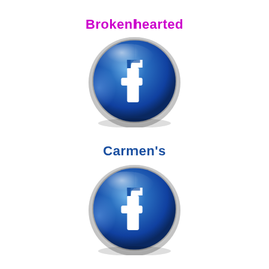Brokenhearted
[Figure (logo): Facebook logo button - blue circular glossy button with white 'f' letter, metallic silver border]
Carmen's
[Figure (logo): Facebook logo button - blue circular glossy button with white 'f' letter, metallic silver border]